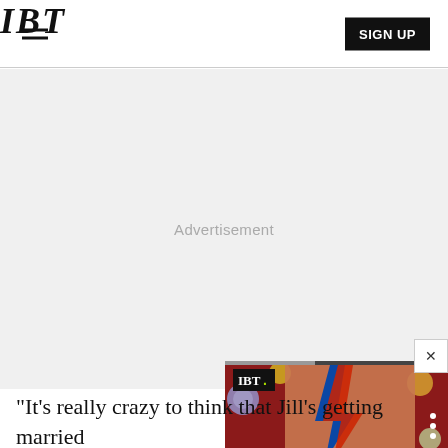IBT
[Figure (screenshot): IBT website screenshot showing advertisement placeholder area and a video widget overlay featuring a David Bowie-style illustrated face with lightning bolt makeup, planet spheres in background, IBT logo badge, and title 'NewSpiderGenus,Se...']
“It’s really crazy to think that Jill’s getting married